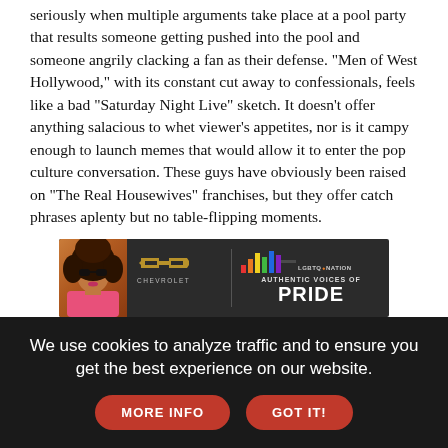seriously when multiple arguments take place at a pool party that results someone getting pushed into the pool and someone angrily clacking a fan as their defense. "Men of West Hollywood," with its constant cut away to confessionals, feels like a bad "Saturday Night Live" sketch. It doesn't offer anything salacious to whet viewer's appetites, nor is it campy enough to launch memes that would allow it to enter the pop culture conversation. These guys have obviously been raised on "The Real Housewives" franchises, but they offer catch phrases aplenty but no table-flipping moments.
[Figure (photo): Advertisement banner for Chevrolet and LGBTQ Nation Authentic Voices of Pride, featuring a person with large curly hair on the left, the Chevrolet bowtie logo in the center, and colorful rainbow bars with the text LGBTQ Nation Authentic Voices of Pride on the right, on a dark background.]
If you look at any of the cast's social media, you will see that much of the show was filmed prior to the pandemic. For a show where so much of it involves getting together at pool parties or bar nights, it would be interesting to see how any subsequent seasons might play out in the current world. If there are future seasons, maybe they could also invest in people who have more to offer than just
We use cookies to analyze traffic and to ensure you get the best experience on our website.
MORE INFO
GOT IT!